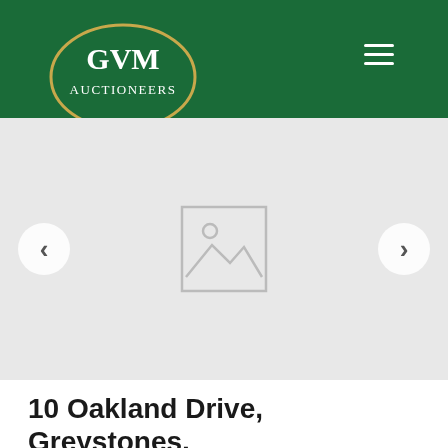[Figure (logo): GVM Auctioneers logo — white oval with gold border on dark green background, text 'GVM AUCTIONEERS' in white serif font]
[Figure (screenshot): Image carousel placeholder with prev/next navigation arrows on a light grey background; centre shows a broken image icon]
10 Oakland Drive, Greystones, Limerick City, Co. Limerick